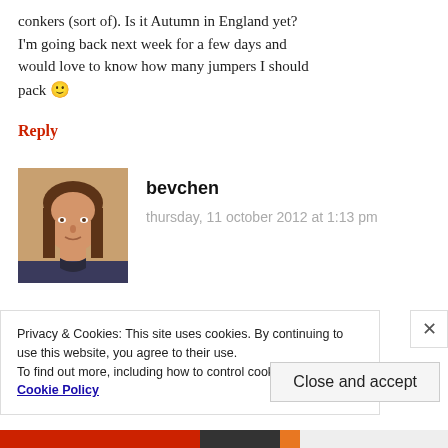conkers (sort of). Is it Autumn in England yet? I'm going back next week for a few days and would love to know how many jumpers I should pack 🙂
Reply
[Figure (photo): Profile photo of bevchen — woman with brown hair]
bevchen
thursday, 11 october 2012 at 1:13 pm
It was freeeezing when we were there, but
Privacy & Cookies: This site uses cookies. By continuing to use this website, you agree to their use.
To find out more, including how to control cookies, see here: Cookie Policy
Close and accept